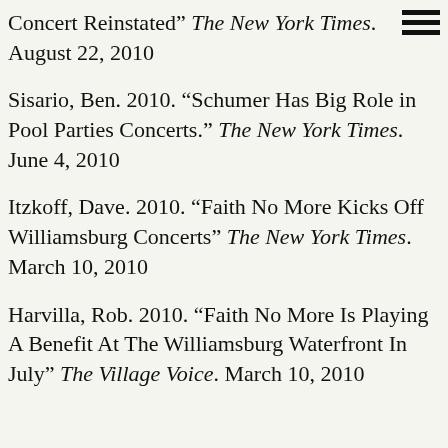Concert Reinstated" The New York Times. August 22, 2010
Sisario, Ben. 2010. “Schumer Has Big Role in Pool Parties Concerts.” The New York Times. June 4, 2010
Itzkoff, Dave. 2010. “Faith No More Kicks Off Williamsburg Concerts” The New York Times. March 10, 2010
Harvilla, Rob. 2010. “Faith No More Is Playing A Benefit At The Williamsburg Waterfront In July” The Village Voice. March 10, 2010